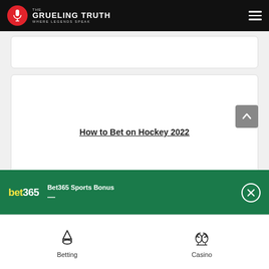The Grueling Truth — Where Legends Speak
[Figure (screenshot): Partial article card at top, clipped]
How to Bet on Hockey 2022
How to Bet on Soccer 2022
[Figure (screenshot): Bet365 Sports Bonus promotional banner with bet365 logo and close button]
Betting | Casino